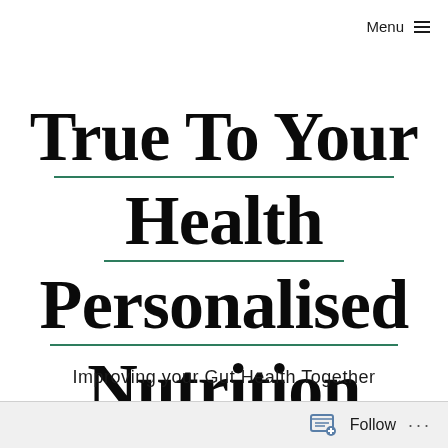Menu ≡
True To Your Health Personalised Nutrition
Improving your Gut Health Together
Follow ...